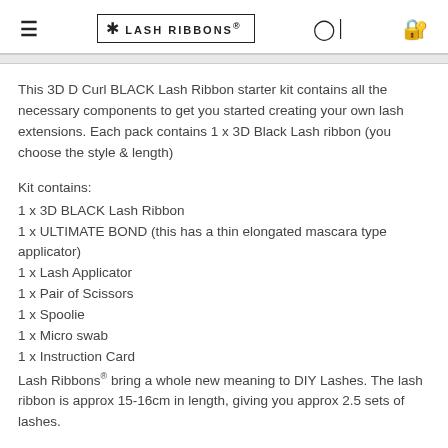LASH RIBBONS
This 3D D Curl BLACK Lash Ribbon starter kit contains all the necessary components to get you started creating your own lash extensions. Each pack contains 1 x 3D Black Lash ribbon (you choose the style & length)
Kit contains:
1 x 3D BLACK Lash Ribbon
1 x ULTIMATE BOND (this has a thin elongated mascara type applicator)
1 x Lash Applicator
1 x Pair of Scissors
1 x Spoolie
1 x Micro swab
1 x Instruction Card
Lash Ribbons® bring a whole new meaning to DIY Lashes. The lash ribbon is approx 15-16cm in length, giving you approx 2.5 sets of lashes.